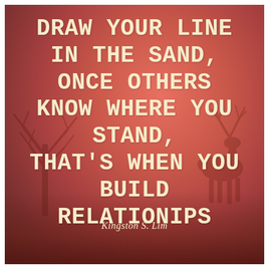[Figure (illustration): Reddish-orange gradient background with deer silhouettes and bare tree branches, misty atmosphere at the bottom]
DRAW YOUR LINE IN THE SAND, ONCE OTHERS KNOW WHERE YOU STAND, THAT'S WHEN YOU BUILD RELATIONIPS
Kingston S. Lim